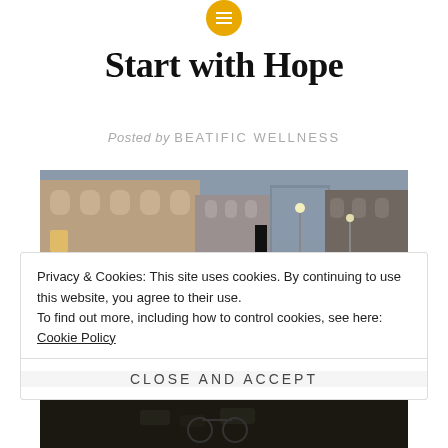[Figure (logo): Circular golden/yellow icon with horizontal menu lines]
Start with Hope
Posted by BEATIFIC WELLNESS
[Figure (photo): HDR photo of a European city street with historic stone buildings, street lights, and evening atmosphere]
Privacy & Cookies: This site uses cookies. By continuing to use this website, you agree to their use.
To find out more, including how to control cookies, see here: Cookie Policy
Close and accept